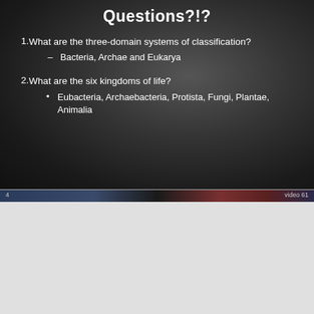Questions?!?
1.  What are the three-domain systems of classification?
–   Bacteria, Archae and Eukarya
2.  What are the six kingdoms of life?
•   Eubacteria, Archaebacteria, Protista, Fungi, Plantae, Animalia